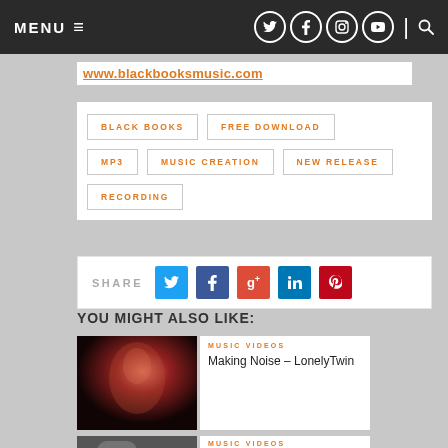MENU | [social icons] | [search]
www.blackbooksmusic.com
BLACK BOOKS
FREE DOWNLOAD
MP3
MUSIC CREATION
NEW RELEASE
RECORDING
SHARE
YOU MIGHT ALSO LIKE:
MUSIC VIDEOS
Making Noise – LonelyTwin
MUSIC VIDEOS